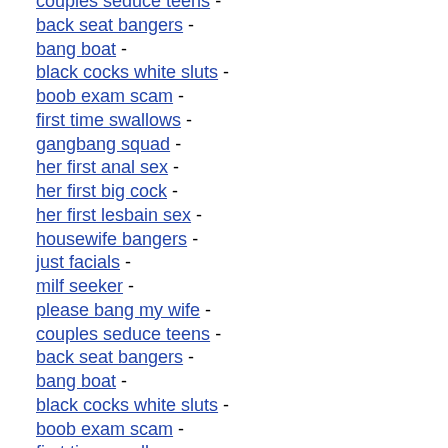couples seduce teens -
back seat bangers -
bang boat -
black cocks white sluts -
boob exam scam -
first time swallows -
gangbang squad -
her first anal sex -
her first big cock -
her first lesbain sex -
housewife bangers -
just facials -
milf seeker -
please bang my wife -
couples seduce teens -
back seat bangers -
bang boat -
black cocks white sluts -
boob exam scam -
first time swallows -
gangbang squad -
her first anal sex -
her first big cock -
her first lesbian sex -